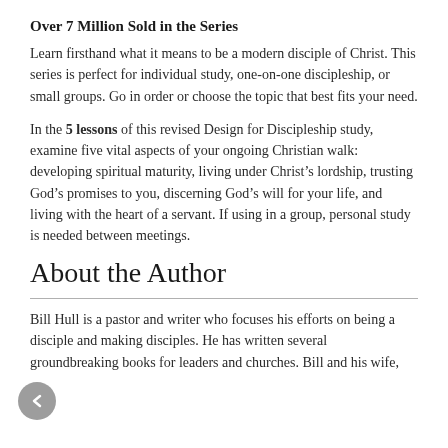Over 7 Million Sold in the Series
Learn firsthand what it means to be a modern disciple of Christ. This series is perfect for individual study, one-on-one discipleship, or small groups. Go in order or choose the topic that best fits your need.
In the 5 lessons of this revised Design for Discipleship study, examine five vital aspects of your ongoing Christian walk: developing spiritual maturity, living under Christ’s lordship, trusting God’s promises to you, discerning God’s will for your life, and living with the heart of a servant. If using in a group, personal study is needed between meetings.
About the Author
Bill Hull is a pastor and writer who focuses his efforts on being a disciple and making disciples. He has written several groundbreaking books for leaders and churches. Bill and his wife,